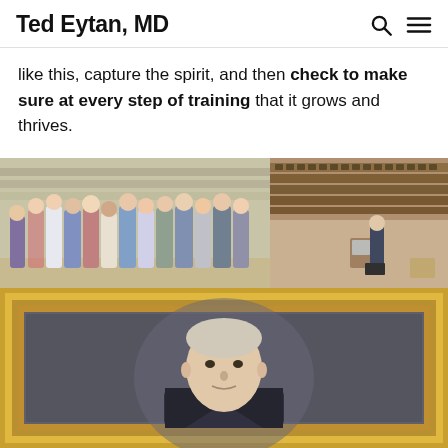Ted Eytan, MD
like this, capture the spirit, and then check to make sure at every step of training that it grows and thrives.
[Figure (photo): Group photo of medical students/residents standing in an auditorium/lecture hall]
[Figure (photo): Lecture hall with tiered wooden seats, one person standing at the front near a podium with a laptop]
[Figure (photo): Portrait painting in a gold frame showing a man, partially visible at bottom of page]